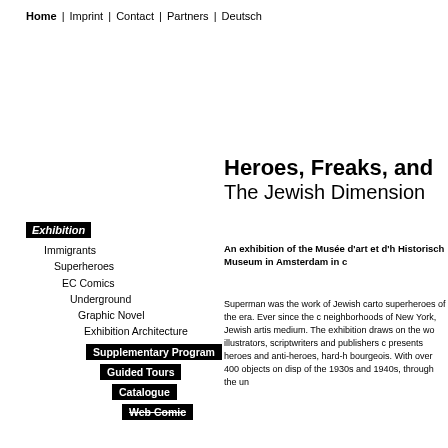Home | Imprint | Contact | Partners | Deutsch
Heroes, Freaks, and The Jewish Dimension
An exhibition of the Musée d'art et d'h Historisch Museum in Amsterdam in c
Exhibition
Immigrants
Superheroes
EC Comics
Underground
Graphic Novel
Exhibition Architecture
Supplementary Program
Guided Tours
Catalogue
Web Comic
Superman was the work of Jewish carto superheroes of the era. Ever since the c neighborhoods of New York, Jewish artis medium. The exhibition draws on the wo illustrators, scriptwriters and publishers c presents heroes and anti-heroes, hard-h bourgeois. With over 400 objects on disp of the 1930s and 1940s, through the un